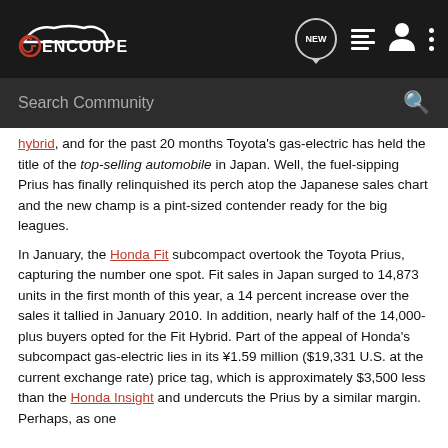GENCOUPE navigation bar with logo, search community bar
hybrid, and for the past 20 months Toyota's gas-electric has held the title of the top-selling automobile in Japan. Well, the fuel-sipping Prius has finally relinquished its perch atop the Japanese sales chart and the new champ is a pint-sized contender ready for the big leagues.
In January, the Honda Fit subcompact overtook the Toyota Prius, capturing the number one spot. Fit sales in Japan surged to 14,873 units in the first month of this year, a 14 percent increase over the sales it tallied in January 2010. In addition, nearly half of the 14,000-plus buyers opted for the Fit Hybrid. Part of the appeal of Honda's subcompact gas-electric lies in its ¥1.59 million ($19,331 U.S. at the current exchange rate) price tag, which is approximately $3,500 less than the Honda Insight and undercuts the Prius by a similar margin. Perhaps, as one